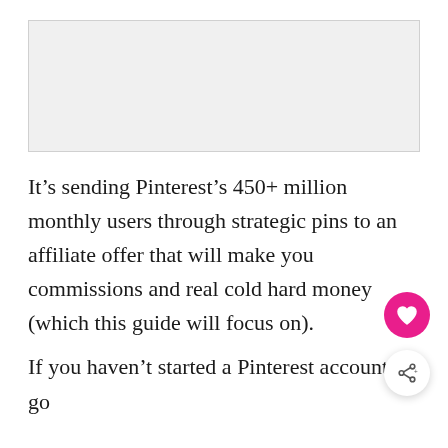[Figure (other): Light gray rectangular image placeholder at the top of the page]
It’s sending Pinterest’s 450+ million monthly users through strategic pins to an affiliate offer that will make you commissions and real cold hard money (which this guide will focus on).
If you haven’t started a Pinterest account, go